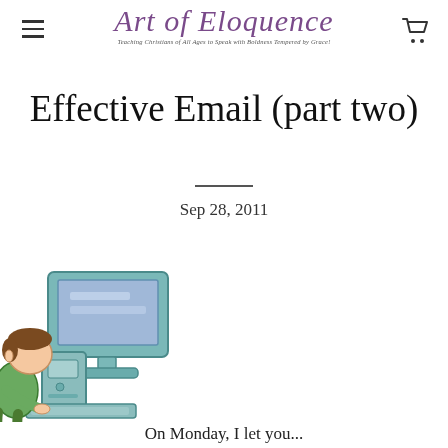Art of Eloquence — Teaching Christians of All Ages to Speak with Boldness Tempered by Grace!
Effective Email (part two)
Sep 28, 2011
[Figure (illustration): Cartoon illustration of a child sitting at a desktop computer, typing on a keyboard. The monitor shows a blue screen. The child has brown hair and is wearing a green outfit.]
On Monday, I let you...